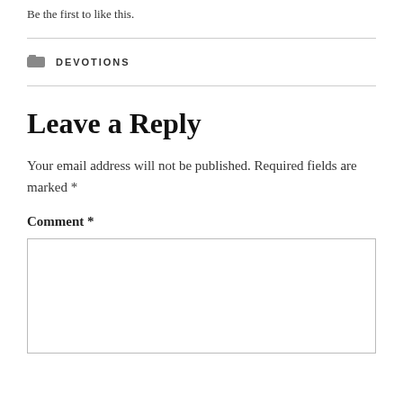Be the first to like this.
DEVOTIONS
Leave a Reply
Your email address will not be published. Required fields are marked *
Comment *